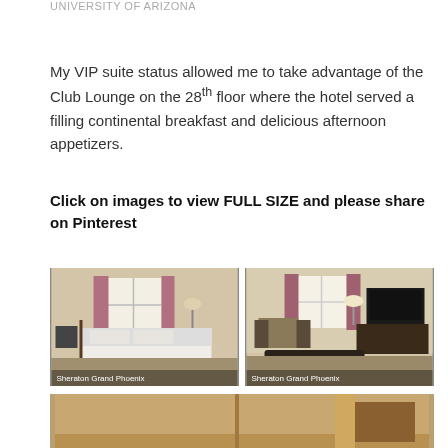UNIVERSITY OF ARIZONA
My VIP suite status allowed me to take advantage of the Club Lounge on the 28th floor where the hotel served a filling continental breakfast and delicious afternoon appetizers.
Click on images to view FULL SIZE and please share on Pinterest
[Figure (photo): Hotel room photo labeled Sheraton Grand Phoenix - bedroom with white bedding]
[Figure (photo): Hotel room photo labeled Sheraton Grand Phoenix - living area with TV and ottoman]
[Figure (photo): Hotel room photo - partial view at bottom of page]